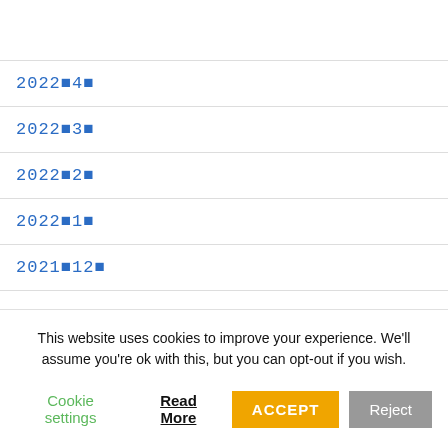2022年4月
2022年3月
2022年2月
2022年1月
2021年12月
This website uses cookies to improve your experience. We'll assume you're ok with this, but you can opt-out if you wish.
Cookie settings  Read More  ACCEPT  Reject